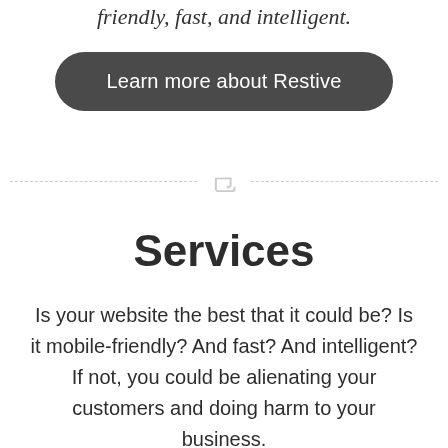friendly, fast, and intelligent.
Learn more about Restive
Services
Is your website the best that it could be? Is it mobile-friendly? And fast? And intelligent? If not, you could be alienating your customers and doing harm to your business.